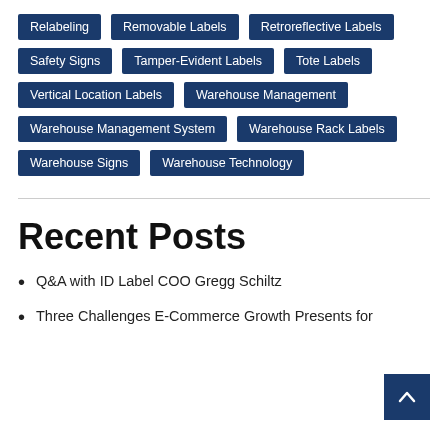Relabeling
Removable Labels
Retroreflective Labels
Safety Signs
Tamper-Evident Labels
Tote Labels
Vertical Location Labels
Warehouse Management
Warehouse Management System
Warehouse Rack Labels
Warehouse Signs
Warehouse Technology
Recent Posts
Q&A with ID Label COO Gregg Schiltz
Three Challenges E-Commerce Growth Presents for